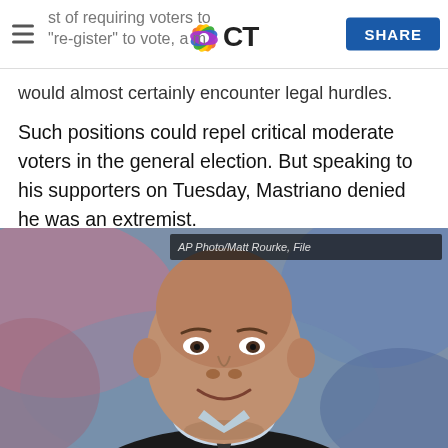NBC CT — [hamburger menu] [NBC CT logo] SHARE
st of requiring voters to 're-register' to vote, a m... would almost certainly encounter legal hurdles.
Such positions could repel critical moderate voters in the general election. But speaking to his supporters on Tuesday, Mastriano denied he was an extremist.
[Figure (photo): Close-up photo of a bald man in a dark suit and light blue tie, smiling, with a blurred colorful background. Caption: AP Photo/Matt Rourke, File]